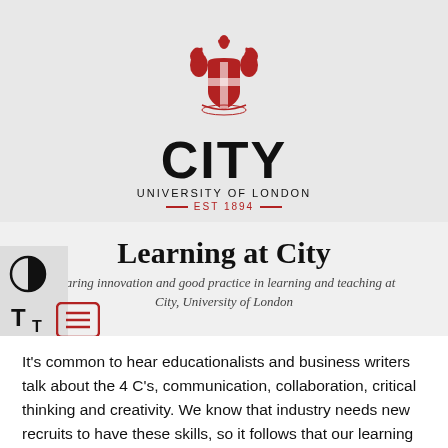[Figure (logo): City, University of London crest logo with red heraldic shield and supporters, with 'CITY UNIVERSITY OF LONDON EST 1894' text below]
Learning at City
Sharing innovation and good practice in learning and teaching at City, University of London
[Figure (other): UI controls: contrast toggle icon, text size icon, search icon, and menu/hamburger icon]
It's common to hear educationalists and business writers talk about the 4 C's, communication, collaboration, critical thinking and creativity. We know that industry needs new recruits to have these skills, so it follows that our learning and teaching approach should allow students to develop